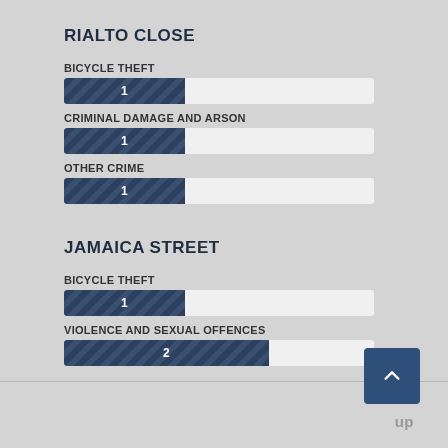RIALTO CLOSE
BICYCLE THEFT
[Figure (bar-chart): Rialto Close - Bicycle Theft]
CRIMINAL DAMAGE AND ARSON
[Figure (bar-chart): Rialto Close - Criminal Damage and Arson]
OTHER CRIME
[Figure (bar-chart): Rialto Close - Other Crime]
JAMAICA STREET
BICYCLE THEFT
[Figure (bar-chart): Jamaica Street - Bicycle Theft]
VIOLENCE AND SEXUAL OFFENCES
[Figure (bar-chart): Jamaica Street - Violence and Sexual Offences]
up